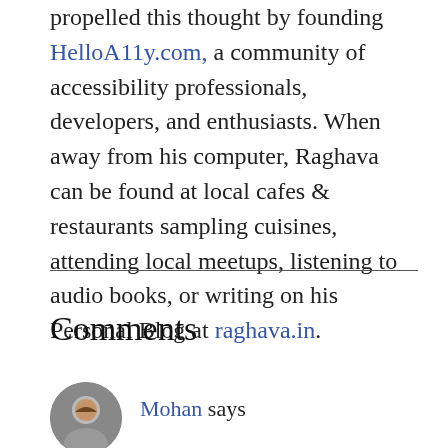propelled this thought by founding HelloA11y.com, a community of accessibility professionals, developers, and enthusiasts. When away from his computer, Raghava can be found at local cafes & restaurants sampling cuisines, attending local meetups, listening to audio books, or writing on his Personal Blog at raghava.in.
Comments
Mohan says